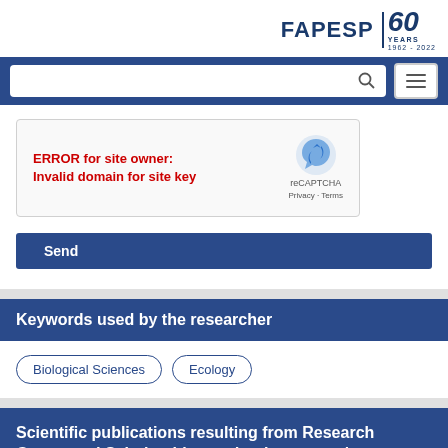[Figure (logo): FAPESP 60 Years (1962-2022) logo in navy blue]
[Figure (screenshot): Navigation bar with search box and hamburger menu button on navy blue background]
[Figure (screenshot): reCAPTCHA error box showing 'ERROR for site owner: Invalid domain for site key' in red text with reCAPTCHA logo, Privacy and Terms links]
[Figure (screenshot): Send button in navy blue]
Keywords used by the researcher
Biological Sciences
Ecology
Scientific publications resulting from Research Grants and Scholarships under the grantee's responsibility (?)